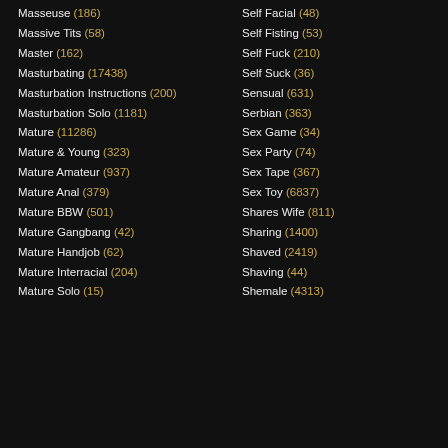Masseuse (186)
Massive Tits (58)
Master (162)
Masturbating (17438)
Masturbation Instructions (200)
Masturbation Solo (1181)
Mature (11286)
Mature & Young (323)
Mature Amateur (937)
Mature Anal (379)
Mature BBW (501)
Mature Gangbang (42)
Mature Handjob (62)
Mature Interracial (204)
Mature Solo (15)
Self Facial (48)
Self Fisting (53)
Self Fuck (210)
Self Suck (36)
Sensual (631)
Serbian (363)
Sex Game (34)
Sex Party (74)
Sex Tape (367)
Sex Toy (6837)
Shares Wife (811)
Sharing (1400)
Shaved (2419)
Shaving (44)
Shemale (4313)